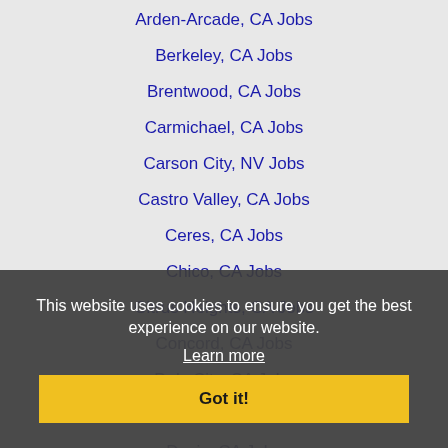Arden-Arcade, CA Jobs
Berkeley, CA Jobs
Brentwood, CA Jobs
Carmichael, CA Jobs
Carson City, NV Jobs
Castro Valley, CA Jobs
Ceres, CA Jobs
Chico, CA Jobs
Citrus Heights, CA Jobs
Concord, CA Jobs
Daly City, CA Jobs
Danville, CA Jobs
Davis, CA Jobs
Dublin, CA Jobs
Elk Grove, CA Jobs
Fairfield, CA Jobs
Folsom, CA Jobs
Fremont, CA Jobs
This website uses cookies to ensure you get the best experience on our website. Learn more
Got it!